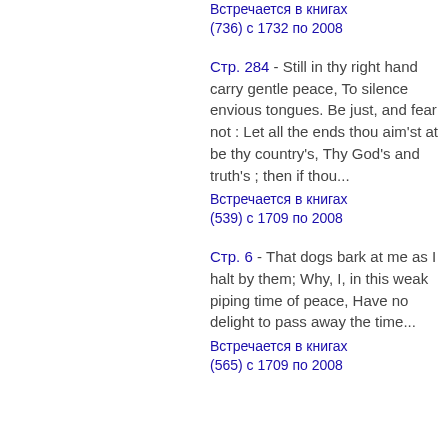Встречается в книгах (736) с 1732 по 2008
Стр. 284 - Still in thy right hand carry gentle peace, To silence envious tongues. Be just, and fear not : Let all the ends thou aim'st at be thy country's, Thy God's and truth's ; then if thou...
Встречается в книгах (539) с 1709 по 2008
Стр. 6 - That dogs bark at me as I halt by them; Why, I, in this weak piping time of peace, Have no delight to pass away the time...
Встречается в книгах (565) с 1709 по 2008